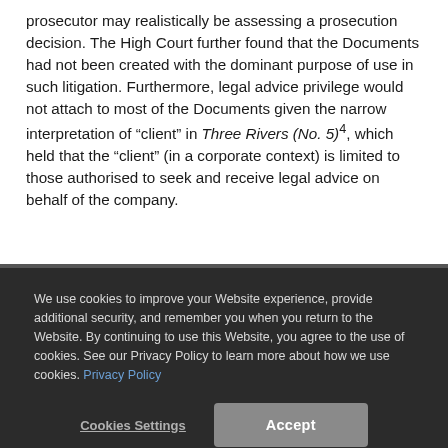prosecutor may realistically be assessing a prosecution decision. The High Court further found that the Documents had not been created with the dominant purpose of use in such litigation. Furthermore, legal advice privilege would not attach to most of the Documents given the narrow interpretation of "client" in Three Rivers (No. 5)⁴, which held that the "client" (in a corporate context) is limited to those authorised to seek and receive legal advice on behalf of the company.
We use cookies to improve your Website experience, provide additional security, and remember you when you return to the Website. By continuing to use this Website, you agree to the use of cookies. See our Privacy Policy to learn more about how we use cookies. Privacy Policy
Cookies Settings   Accept